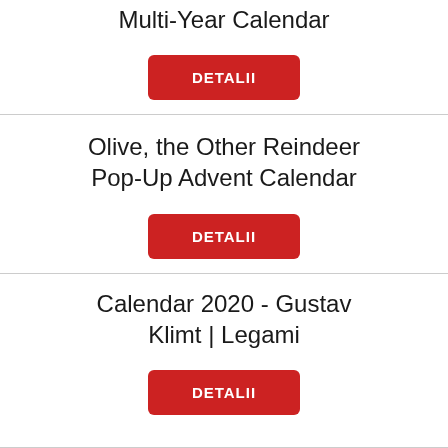Multi-Year Calendar
DETALII
Olive, the Other Reindeer Pop-Up Advent Calendar
DETALII
Calendar 2020 - Gustav Klimt | Legami
DETALII